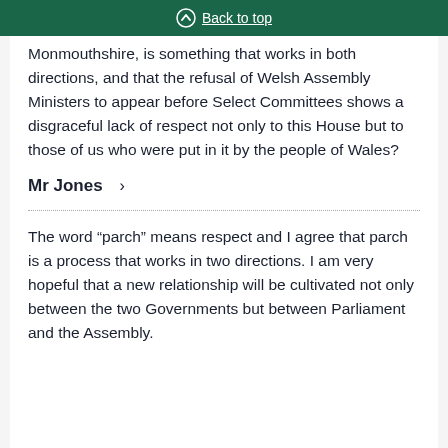Back to top
Monmouthshire, is something that works in both directions, and that the refusal of Welsh Assembly Ministers to appear before Select Committees shows a disgraceful lack of respect not only to this House but to those of us who were put in it by the people of Wales?
Mr Jones >
The word “parch” means respect and I agree that parch is a process that works in two directions. I am very hopeful that a new relationship will be cultivated not only between the two Governments but between Parliament and the Assembly.